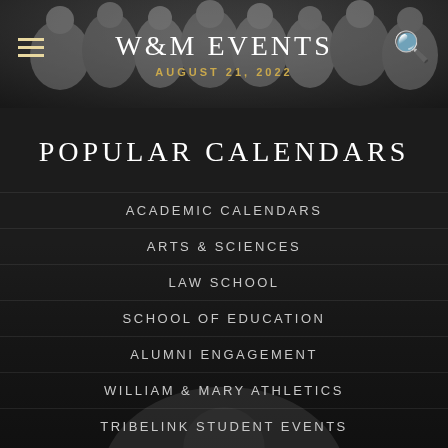W&M EVENTS
AUGUST 21, 2022
POPULAR CALENDARS
ACADEMIC CALENDARS
ARTS & SCIENCES
LAW SCHOOL
SCHOOL OF EDUCATION
ALUMNI ENGAGEMENT
WILLIAM & MARY ATHLETICS
TRIBELINK STUDENT EVENTS